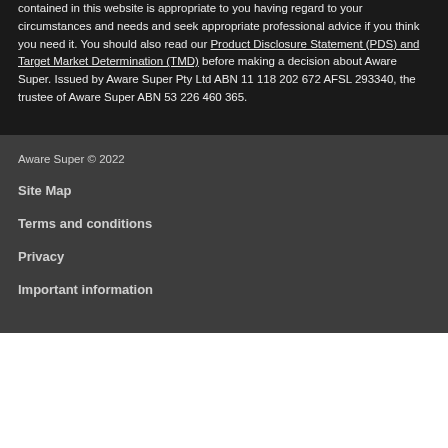contained in this website is appropriate to you having regard to your circumstances and needs and seek appropriate professional advice if you think you need it. You should also read our Product Disclosure Statement (PDS) and Target Market Determination (TMD) before making a decision about Aware Super. Issued by Aware Super Pty Ltd ABN 11 118 202 672 AFSL 293340, the trustee of Aware Super ABN 53 226 460 365.
Aware Super © 2022
Site Map
Terms and conditions
Privacy
Important information